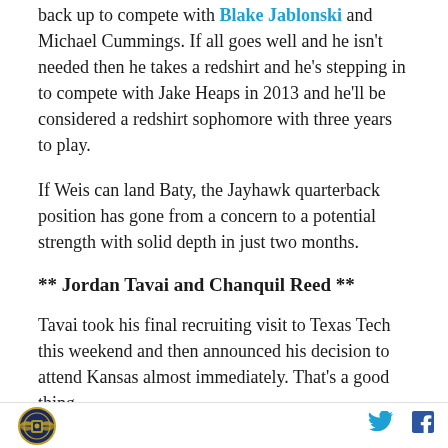back up to compete with Blake Jablonski and Michael Cummings. If all goes well and he isn't needed then he takes a redshirt and he's stepping in to compete with Jake Heaps in 2013 and he'll be considered a redshirt sophomore with three years to play.
If Weis can land Baty, the Jayhawk quarterback position has gone from a concern to a potential strength with solid depth in just two months.
** Jordan Tavai and Chanquil Reed **
Tavai took his final recruiting visit to Texas Tech this weekend and then announced his decision to attend Kansas almost immediately. That's a good thing.
SB Nation logo | Twitter icon | Facebook icon